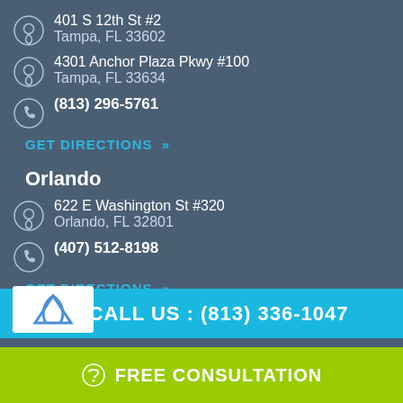401 S 12th St #2
Tampa, FL 33602
4301 Anchor Plaza Pkwy #100
Tampa, FL 33634
(813) 296-5761
GET DIRECTIONS »
Orlando
622 E Washington St #320
Orlando, FL 32801
(407) 512-8198
GET DIRECTIONS »
sonville
CALL US : (813) 336-1047
FREE CONSULTATION